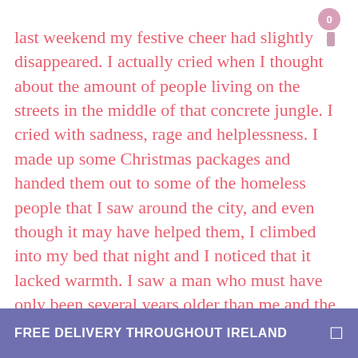last weekend my festive cheer had slightly disappeared. I actually cried when I thought about the amount of people living on the streets in the middle of that concrete jungle. I cried with sadness, rage and helplessness. I made up some Christmas packages and handed them out to some of the homeless people that I saw around the city, and even though it may have helped them, I climbed into my bed that night and I noticed that it lacked warmth. I saw a man who must have only been several years older than me and the moment his face lit up when he realised I had attached a Christmas card to the present was the moment my heart bled some more. At some point we were both innocent children, but unfortunately one of us got a little lost along the way. That could be me tomorrow so I will never
FREE DELIVERY THROUGHOUT IRELAND